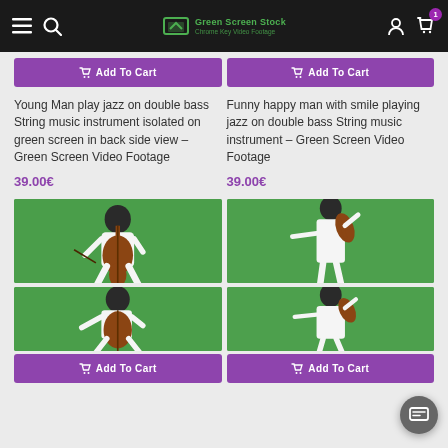Green Screen Stock - Chrome Key Video Footage navigation bar
Add To Cart (button left)
Add To Cart (button right)
Young Man play jazz on double bass String music instrument isolated on green screen in back side view – Green Screen Video Footage
39.00€
Funny happy man with smile playing jazz on double bass String music instrument – Green Screen Video Footage
39.00€
[Figure (photo): Green screen video thumbnail: man in white suit playing cello, crouching, front view]
[Figure (photo): Green screen video thumbnail: man in white suit playing violin, standing side view]
[Figure (photo): Green screen video thumbnail: man in white suit playing cello, lower crouching position]
[Figure (photo): Green screen video thumbnail: man in white suit playing violin, lower position]
Add To Cart (button left, bottom)
Add To Cart (button right, bottom)